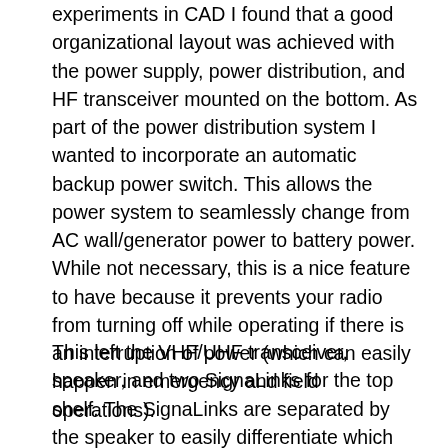experiments in CAD I found that a good organizational layout was achieved with the power supply, power distribution, and HF transceiver mounted on the bottom. As part of the power distribution system I wanted to incorporate an automatic backup power switch. This allows the power system to seamlessly change from AC wall/generator power to battery power. While not necessary, this is a nice feature to have because it prevents your radio from turning off while operating if there is an interruption of power (which can easily happen in emergency and field operations).
This left the VHF/UHF transceiver, speaker, and two SignaLinks for the top shelf. The SignaLinks are separated by the speaker to easily differentiate which unit is connected to which radio. I went with multiple digital interfaces because while I will most likely never be transmitting on both V/U and HF simultaneously, it